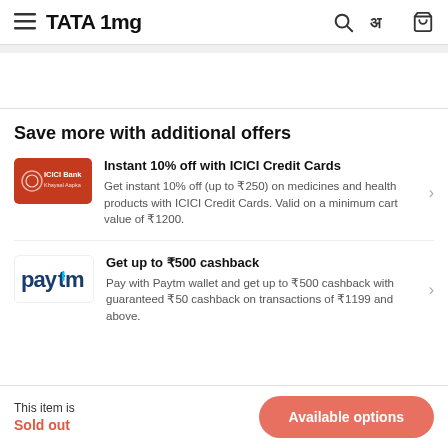TATA 1mg
Save more with additional offers
Instant 10% off with ICICI Credit Cards – Get instant 10% off (up to ₹250) on medicines and health products with ICICI Credit Cards. Valid on a minimum cart value of ₹1200.
Get up to ₹500 cashback – Pay with Paytm wallet and get up to ₹500 cashback with guaranteed ₹50 cashback on transactions of ₹1199 and above.
This item is
Sold out
Available options